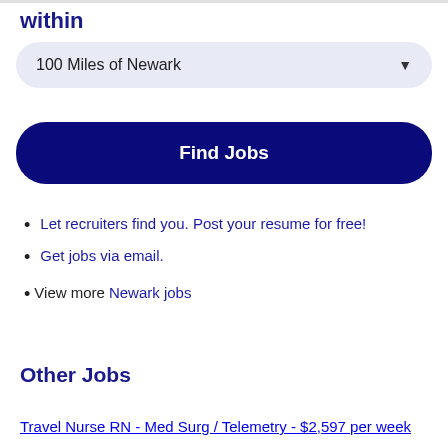within
100 Miles of Newark
Find Jobs
Let recruiters find you. Post your resume for free!
Get jobs via email.
View more Newark jobs
Other Jobs
Travel Nurse RN - Med Surg / Telemetry - $2,597 per week